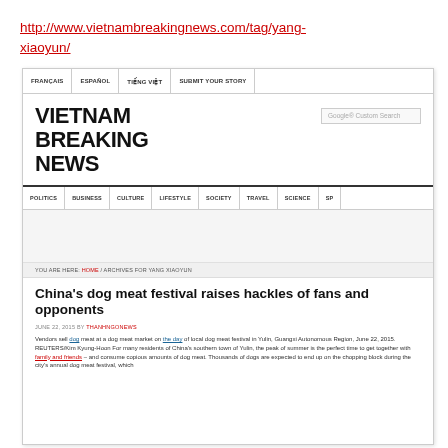http://www.vietnambreakingnews.com/tag/yang-xiaoyun/
[Figure (screenshot): Screenshot of Vietnam Breaking News website showing navigation menus (FRANÇAIS, ESPAÑOL, TIẾNG VIỆT, SUBMIT YOUR STORY), site title 'VIETNAM BREAKING NEWS', a Google Custom Search box, main navigation (POLITICS, BUSINESS, CULTURE, LIFESTYLE, SOCIETY, TRAVEL, SCIENCE, SP...), breadcrumb 'YOU ARE HERE: HOME / ARCHIVES FOR YANG XIAOYUN', article title 'China's dog meat festival raises hackles of fans and opponents', date 'JUNE 22, 2015 BY THANHNGONEWS', and article body text about vendors selling dog meat at a market.]